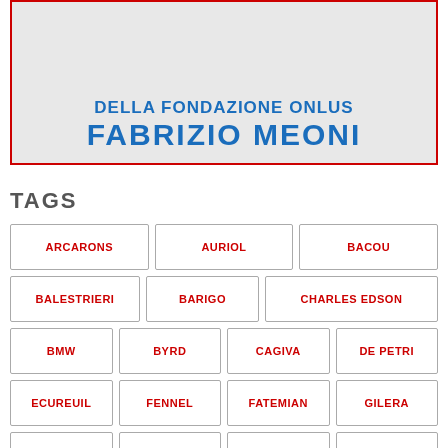[Figure (illustration): Banner for Fondazione ONLUS Fabrizio Meoni with blue text on grey background, red border, showing text 'DELLA FONDAZIONE ONLUS' and 'FABRIZIO MEONI' with an illustration/photo in background]
TAGS
ARCARONS
AURIOL
BACOU
BALESTRIERI
BARIGO
CHARLES EDSON
BMW
BYRD
CAGIVA
DE PETRI
ECUREUIL
FENNEL
FATEMIAN
GILERA
GAURI
HONDA
HUSQVARNA
ISO